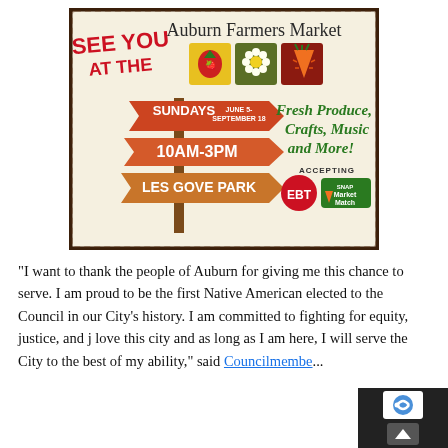[Figure (illustration): Auburn Farmers Market promotional poster/sign illustration. Shows a rustic sign post with directional arrows reading 'SUNDAYS JUNE 5 - SEPTEMBER 18', '10AM-3PM', 'LES GOVE PARK'. Text reads 'SEE YOU AT THE Auburn Farmers Market'. Right side reads 'FRESH PRODUCE, CRAFTS, MUSIC AND MORE!' with icons of strawberry, daisy, carrot. Bottom shows 'ACCEPTING EBT' and 'SNAP Market Match' logos.]
“I want to thank the people of Auburn for giving me this chance to serve. I am proud to be the first Native American elected to the Council in our City’s history. I am committed to fighting for equity, justice, and I love this city and as long as I am here, I will serve the City to the best of my ability,” said Councilmember...